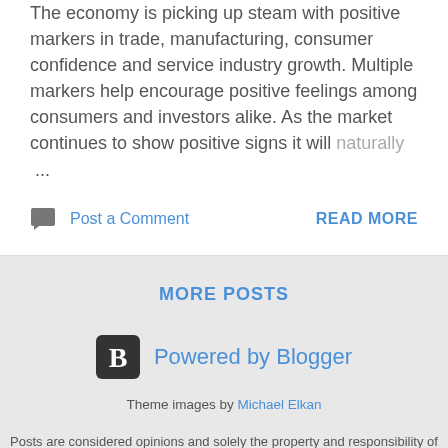The economy is picking up steam with positive markers in trade, manufacturing, consumer confidence and service industry growth. Multiple markers help encourage positive feelings among consumers and investors alike. As the market continues to show positive signs it will naturally ...
Post a Comment
READ MORE
MORE POSTS
[Figure (logo): Blogger logo icon - letter B in a rounded square]
Powered by Blogger
Theme images by Michael Elkan
Posts are considered opinions and solely the property and responsibility of the individual authors